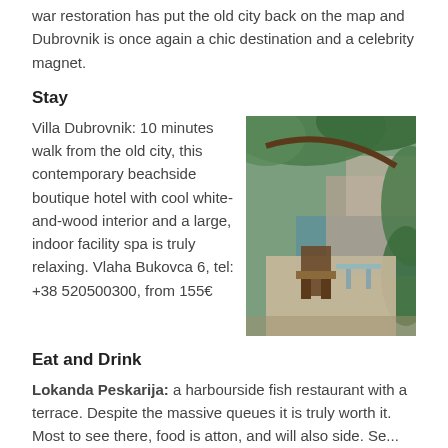war restoration has put the old city back on the map and Dubrovnik is once again a chic destination and a celebrity magnet.
Stay
Villa Dubrovnik: 10 minutes walk from the old city, this contemporary beachside boutique hotel with cool white-and-wood interior and a large, indoor facility spa is truly relaxing. Vlaha Bukovca 6, tel: +38 520500300, from 155€
[Figure (photo): Outdoor terrace of Villa Dubrovnik with wooden chairs, stone pathway, lush green foliage, and a view of the water and cliffs.]
Eat and Drink
Lokanda Peskarija: a harbourside fish restaurant with a terrace. Despite the massive queues it is truly worth it. Most to see there, food is atton, and will also side. Se...